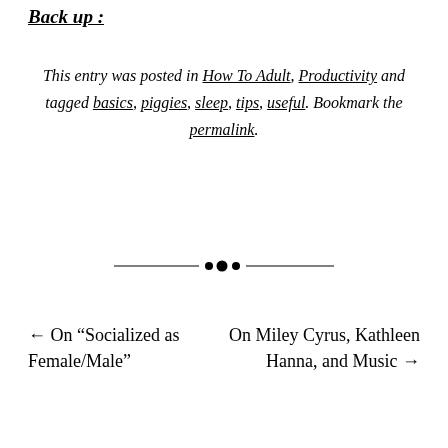Back up :
This entry was posted in How To Adult, Productivity and tagged basics, piggies, sleep, tips, useful. Bookmark the permalink.
[Figure (illustration): Decorative horizontal rule divider with diamond/dot ornament in center]
← On “Socialized as Female/Male”
On Miley Cyrus, Kathleen Hanna, and Music →